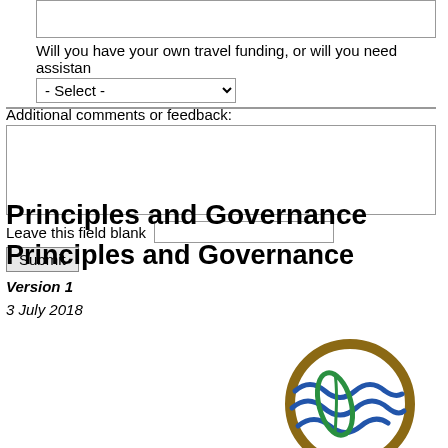Will you have your own travel funding, or will you need assistance?
[Figure (screenshot): Dropdown selector showing '- Select -' with chevron]
Additional comments or feedback:
Leave this field blank
Submit
Principles and Governance
Principles and Governance
Version 1
3 July 2018
[Figure (logo): Circular logo with green leaf, blue wave lines, and brown/gold border]